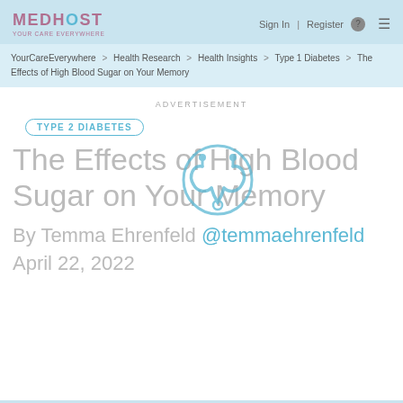MEDHOST | Sign In | Register
YourCareEverywhere > Health Research > Health Insights > Type 1 Diabetes > The Effects of High Blood Sugar on Your Memory
ADVERTISEMENT
TYPE 2 DIABETES
The Effects of High Blood Sugar on Your Memory
By Temma Ehrenfeld @temmaehrenfeld
April 22, 2022